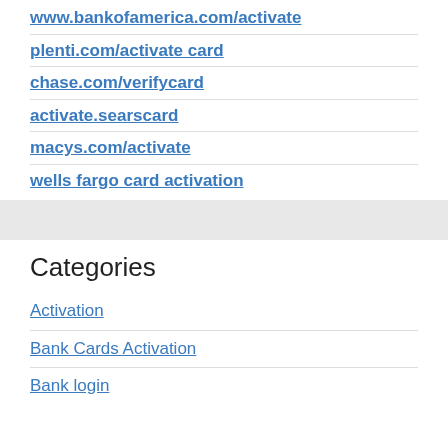www.bankofamerica.com/activate
plenti.com/activate card
chase.com/verifycard
activate.searscard
macys.com/activate
wells fargo card activation
Categories
Activation
Bank Cards Activation
Bank login